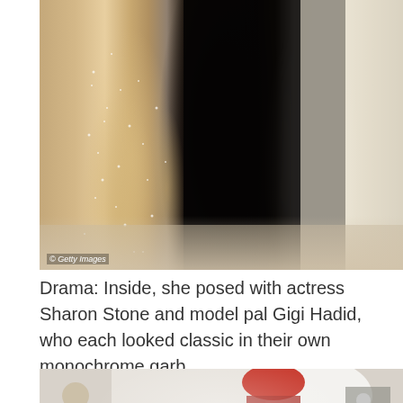[Figure (photo): Photo of three people at what appears to be a Met Gala or similar event. One person wears a shimmering gold/nude embellished gown with a train, one wears an all-black outfit, and one wears a white/cream outfit. Getty Images watermark visible.]
Drama: Inside, she posed with actress Sharon Stone and model pal Gigi Hadid, who each looked classic in their own monochrome garb
[Figure (photo): Partial photo showing people at an event, with a person with pink/red hair visible and photographers in the background.]